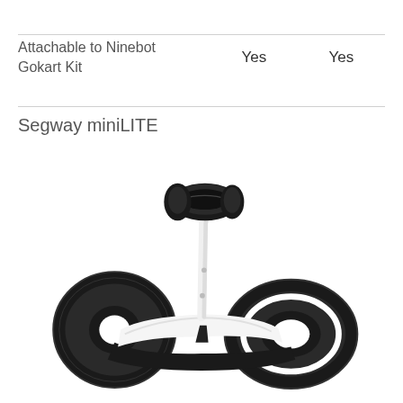| Feature | Col1 | Col2 |
| --- | --- | --- |
| Attachable to Ninebot Gokart Kit | Yes | Yes |
Segway miniLITE
[Figure (photo): Segway miniLITE self-balancing personal transporter in white, with two large black wheels and a white stem with black knee pad controls, photographed from a 3/4 angle on white background.]